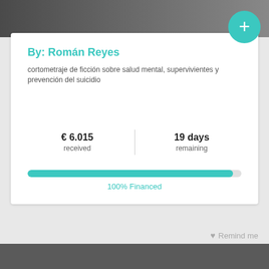[Figure (screenshot): Top dark image bar representing a photo/video thumbnail]
By: Román Reyes
cortometraje de ficción sobre salud mental, supervivientes y prevención del suicidio
€ 6.015 received
19 days remaining
[Figure (infographic): Teal progress bar showing 100% funded]
100% Financed
Remind me